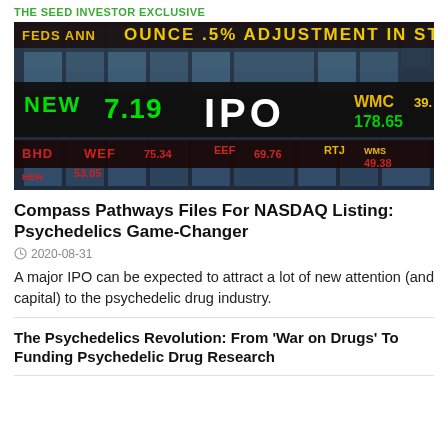THE SEED INVESTOR EXCLUSIVE
[Figure (photo): Stock market ticker board showing IPO text in white block letters, with green and red financial numbers including 7.19, 178.65, and stock symbols like WEF, EEF, BHD. Building facade reflected in background.]
Compass Pathways Files For NASDAQ Listing: Psychedelics Game-Changer
🕐 2020-08-31
A major IPO can be expected to attract a lot of new attention (and capital) to the psychedelic drug industry.
The Psychedelics Revolution: From 'War on Drugs' To Funding Psychedelic Drug Research